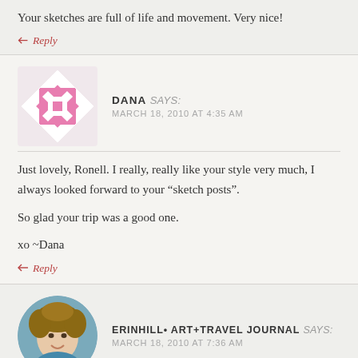Your sketches are full of life and movement. Very nice!
↩ Reply
[Figure (illustration): Pink geometric snowflake/diamond pattern avatar for user Dana]
DANA says: MARCH 18, 2010 AT 4:35 AM
Just lovely, Ronell. I really, really like your style very much, I always looked forward to your "sketch posts".
So glad your trip was a good one.
xo ~Dana
↩ Reply
[Figure (photo): Circular avatar photo of a woman with curly hair, smiling, for user ErinHill Art+Travel Journal]
ERINHILL• ART+TRAVEL JOURNAL says: MARCH 18, 2010 AT 7:36 AM